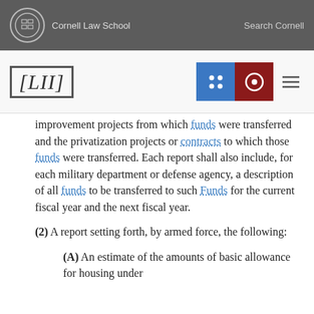Cornell Law School | Search Cornell
[Figure (logo): LII Legal Information Institute logo with navigation icons]
improvement projects from which funds were transferred and the privatization projects or contracts to which those funds were transferred. Each report shall also include, for each military department or defense agency, a description of all funds to be transferred to such Funds for the current fiscal year and the next fiscal year.
(2) A report setting forth, by armed force, the following:
(A) An estimate of the amounts of basic allowance for housing under